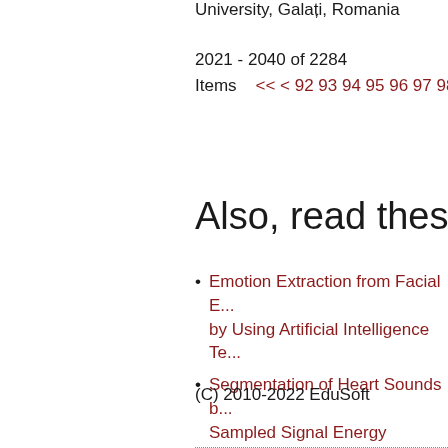University, Galați, Romania
2021 - 2040 of 2284
Items    << < 92 93 94 95 96 97 98 99
Also, read these artic
Emotion Extraction from Facial E... by Using Artificial Intelligence Te...
Segmentation of Heart Sounds b... Sampled Signal Energy Method...
(C) 2010-2022 EduSoft